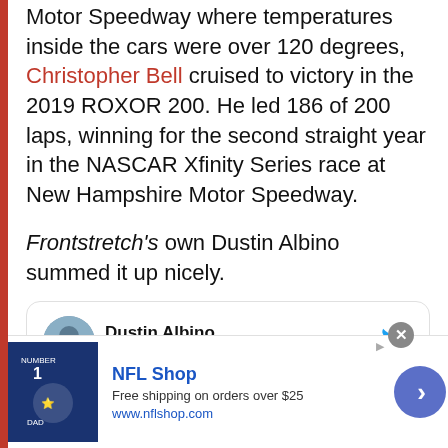Motor Speedway where temperatures inside the cars were over 120 degrees, Christopher Bell cruised to victory in the 2019 ROXOR 200. He led 186 of 200 laps, winning for the second straight year in the NASCAR Xfinity Series race at New Hampshire Motor Speedway.
Frontstretch's own Dustin Albino summed it up nicely.
[Figure (screenshot): Embedded tweet by Dustin Albino (@DustinAlbino) with Follow button and Twitter bird logo. Tweet begins: 'Dominating performance today from']
[Figure (infographic): Advertisement bar for NFL Shop. Shows a Dallas Cowboys jersey, text 'NFL Shop', 'Free shipping on orders over $25', 'www.nflshop.com', a close button, and a blue arrow button.]